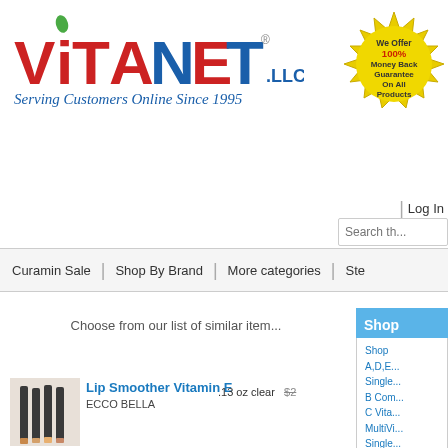[Figure (logo): VitaNet LLC logo with colorful lettering, green leaf accent, and tagline 'Serving Customers Online Since 1995']
[Figure (illustration): Gold starburst badge reading 'We Offer 100% Money Back Guarantee On All Products']
| Log In
Search th...
Curamin Sale | Shop By Brand | More categories | Ste...
Shop
Choose from our list of similar items
Shop
A,D,E...
Single...
B Com...
C Vita...
MultiVi...
Single...
Esse...
[Figure (photo): Photo of multiple lip smoother cosmetic pencils/sticks fanned out]
Lip Smoother Vitamin E
ECCO BELLA
.13 oz clear   $2...